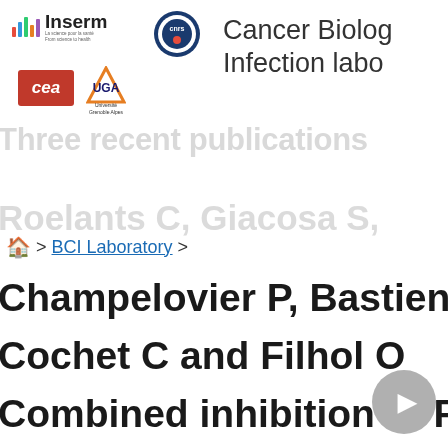[Figure (logo): Inserm logo with colored bar chart icon and text 'La science pour la santé / From science to health']
[Figure (logo): CNRS circular logo in dark blue]
Cancer Biology & Infection labo
[Figure (logo): CEA red logo]
[Figure (logo): UGA Université Grenoble Alpes logo]
Three recent publications
Roelants C, Giacosa S,
🏠 > BCI Laboratory >
Champelovier P, Bastien
Cochet C and Filhol O
Combined inhibition of PI3K